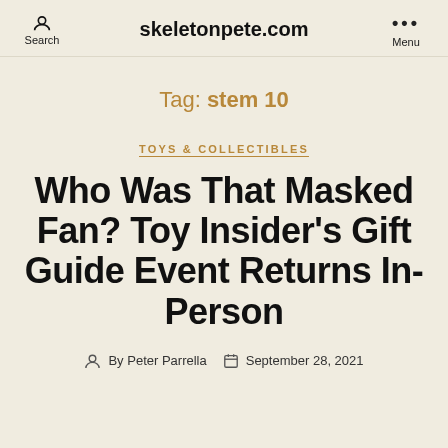Search | skeletonpete.com | Menu
Tag: stem 10
TOYS & COLLECTIBLES
Who Was That Masked Fan? Toy Insider's Gift Guide Event Returns In-Person
By Peter Parrella  September 28, 2021